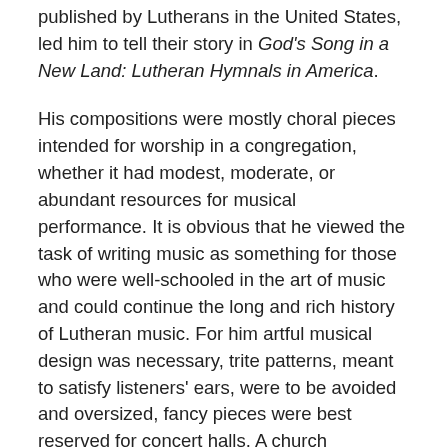published by Lutherans in the United States, led him to tell their story in God's Song in a New Land: Lutheran Hymnals in America.
His compositions were mostly choral pieces intended for worship in a congregation, whether it had modest, moderate, or abundant resources for musical performance. It is obvious that he viewed the task of writing music as something for those who were well-schooled in the art of music and could continue the long and rich history of Lutheran music. For him artful musical design was necessary, trite patterns, meant to satisfy listeners' ears, were to be avoided and oversized, fancy pieces were best reserved for concert halls. A church composer's task was to help deliver the divine message so the Holy Spirit could move a believing heart to trust God and serve the Lord. This led him to publish more than two hundred of his own pieces and more than sixty publications with works by other ancient and